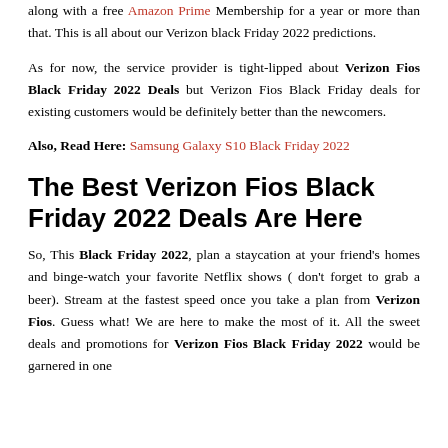along with a free Amazon Prime Membership for a year or more than that. This is all about our Verizon black Friday 2022 predictions.
As for now, the service provider is tight-lipped about Verizon Fios Black Friday 2022 Deals but Verizon Fios Black Friday deals for existing customers would be definitely better than the newcomers.
Also, Read Here: Samsung Galaxy S10 Black Friday 2022
The Best Verizon Fios Black Friday 2022 Deals Are Here
So, This Black Friday 2022, plan a staycation at your friend's homes and binge-watch your favorite Netflix shows ( don't forget to grab a beer). Stream at the fastest speed once you take a plan from Verizon Fios. Guess what! We are here to make the most of it. All the sweet deals and promotions for Verizon Fios Black Friday 2022 would be garnered in one